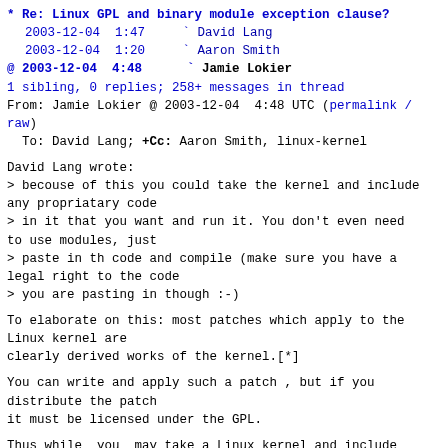* Re: Linux GPL and binary module exception clause?
  2003-12-04  1:47     David Lang
  2003-12-04  1:20     Aaron Smith
@ 2003-12-04  4:48     Jamie Lokier
  1 sibling, 0 replies; 258+ messages in thread
From: Jamie Lokier @ 2003-12-04  4:48 UTC (permalink / raw)
  To: David Lang; +Cc: Aaron Smith, linux-kernel
David Lang wrote:
> becouse of this you could take the kernel and include any propriatary code
> in it that you want and run it. You don't even need to use modules, just
> paste in th code and compile (make sure you have a legal right to the code
> you are pasting in though :-)
To elaborate on this: most patches which apply to the Linux kernel are
clearly derived works of the kernel.[*]
You can write and apply such a patch , but if you distribute the patch
it must be licensed under the GPL.
Thus while _you_ may take a Linux kernel and include any proprietary
code you want in it, a vendor _may not_ send you a patch which applies